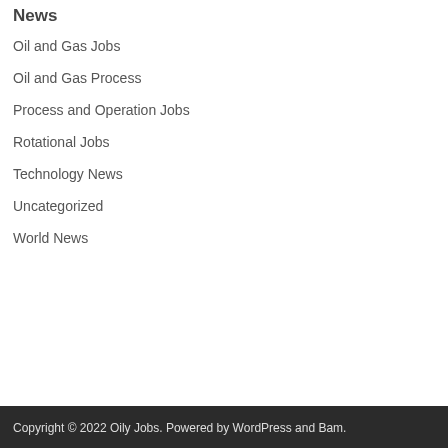News
Oil and Gas Jobs
Oil and Gas Process
Process and Operation Jobs
Rotational Jobs
Technology News
Uncategorized
World News
Copyright © 2022 Oily Jobs. Powered by WordPress and Bam.